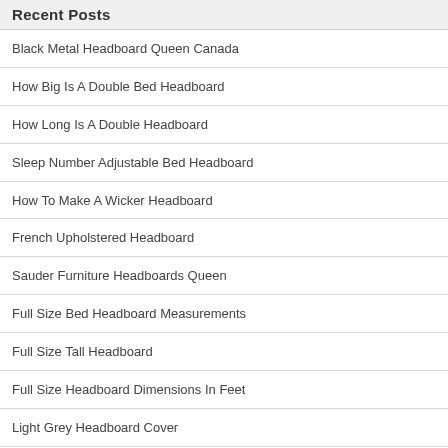Recent Posts
Black Metal Headboard Queen Canada
How Big Is A Double Bed Headboard
How Long Is A Double Headboard
Sleep Number Adjustable Bed Headboard
How To Make A Wicker Headboard
French Upholstered Headboard
Sauder Furniture Headboards Queen
Full Size Bed Headboard Measurements
Full Size Tall Headboard
Full Size Headboard Dimensions In Feet
Light Grey Headboard Cover
Light Grey Headboard Nz
How To Attach Upholstered Headboard Wall